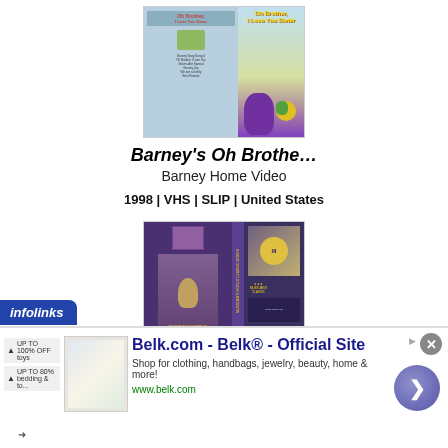[Figure (photo): VHS tape box art for Barney's Oh Brother, I Love You Sister - blue/yellow VHS cover showing Barney and friends]
Barney's Oh Brothe…
Barney Home Video
1998 | VHS | SLIP | United States
[Figure (photo): VHS tape box art for a second video, purple/dark cover showing people]
[Figure (photo): Advertisement banner: infolinks tab, Belk.com - Belk Official Site ad with product image, text, and navigation arrow]